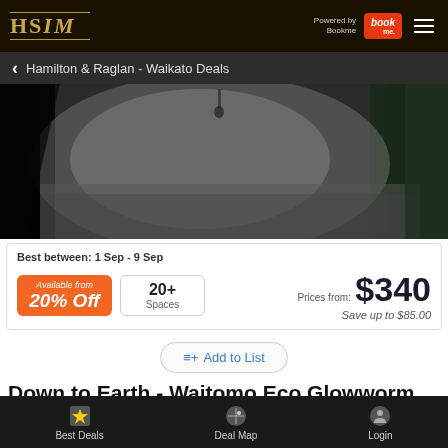HSIM — Powered by Bookme
Hamilton & Raglan - Waikato Deals
[Figure (photo): Cave interior with misty light coming through, person visible rappelling near top, green mossy rock walls on right side]
Best between: 1 Sep - 9 Sep
Available from
20% Off
20+
Spaces
Prices from: $340
Save up to $85.00
Add to List
Down to Earth - Waitomo Eco Glowworm Cave
Best Deals   Deal Map   Login